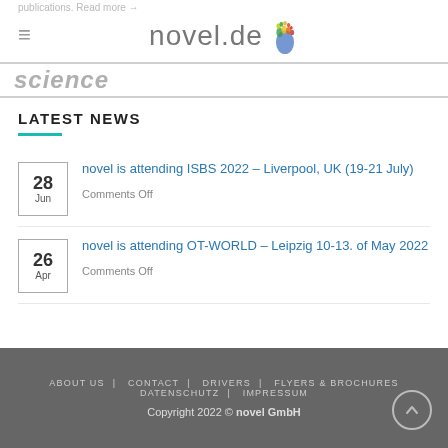novel.de
science
LATEST NEWS
28 Jun — novel is attending ISBS 2022 – Liverpool, UK (19-21 July) — Comments Off
26 Apr — novel is attending OT-WORLD – Leipzig 10-13. of May 2022 — Comments Off
ABOUT US | CONTACT | DRIVERS | FLYERS & BROCHURES | DATENSCHUTZ | IMPRESSUM
Copyright 2022 © novel GmbH